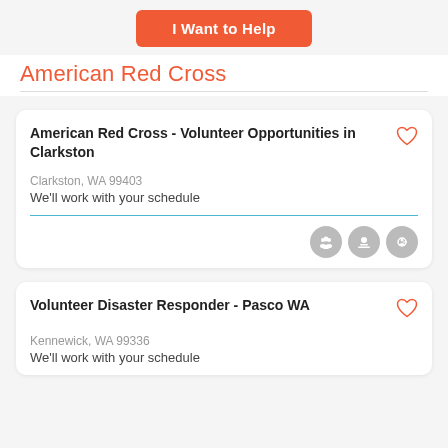I Want to Help
American Red Cross
American Red Cross - Volunteer Opportunities in Clarkston
Clarkston, WA 99403
We'll work with your schedule
Volunteer Disaster Responder - Pasco WA
Kennewick, WA 99336
We'll work with your schedule